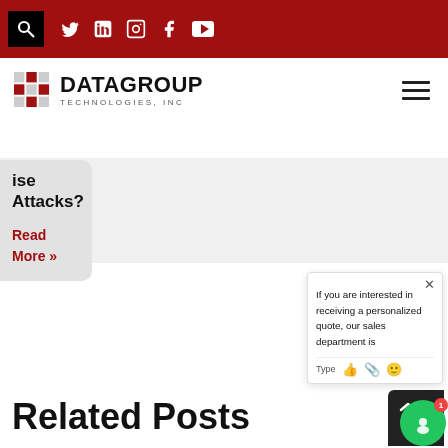Datagroup Technologies Inc. website header with search, social icons (Twitter, LinkedIn, Instagram, Facebook, YouTube)
[Figure (logo): Datagroup Technologies Inc. logo with grid icon]
ise Attacks?
Read More »
If you are interested in receiving a personalized quote, our sales department is
Related Posts